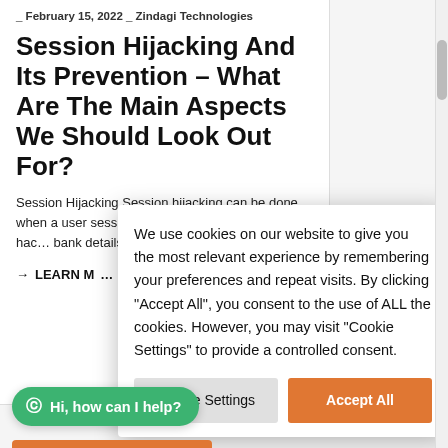_ February 15, 2022 _ Zindagi Technologies
Session Hijacking And Its Prevention – What Are The Main Aspects We Should Look Out For?
Session Hijacking Session hijacking can be done when a user session is currently logged in, then the hacker can steal bank details and log in into bank accounts.
→ LEARN MORE
We use cookies on our website to give you the most relevant experience by remembering your preferences and repeat visits. By clicking "Accept All", you consent to the use of ALL the cookies. However, you may visit "Cookie Settings" to provide a controlled consent.
Cookie Settings | Accept All
© Hi, how can I help?